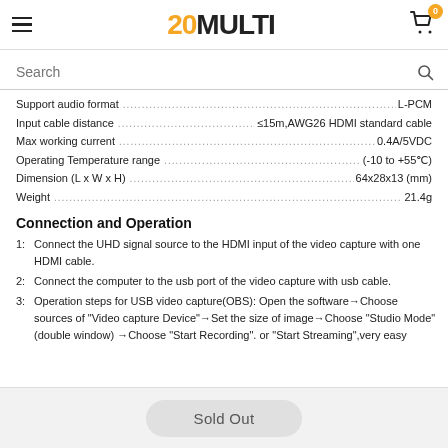20MULTI
Search
Support audio format ............................................ L-PCM
Input cable distance ................................................ ≤15m,AWG26 HDMI standard cable
Max working current ................................................ 0.4A/5VDC
Operating Temperature range .................................... (-10 to +55℃)
Dimension (L x W x H) .............................................. 64x28x13 (mm)
Weight ..................................................................... 21.4g
Connection and Operation
1: Connect the UHD signal source to the HDMI input of the video capture with one HDMI cable.
2: Connect the computer to the usb port of the video capture with usb cable.
3: Operation steps for USB video capture(OBS): Open the software→Choose sources of "Video capture Device"→Set the size of image→Choose "Studio Mode"(double window) →Choose "Start Recording". or "Start Streaming",very easy
Sold Out